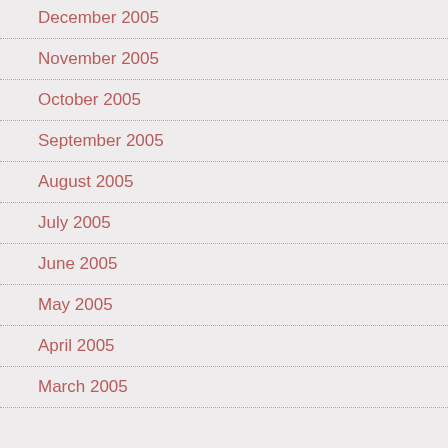December 2005
November 2005
October 2005
September 2005
August 2005
July 2005
June 2005
May 2005
April 2005
March 2005